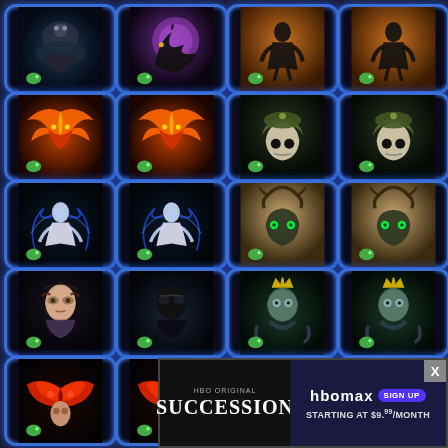[Figure (screenshot): Grid of 20 game card icons arranged in 5 rows of 4 columns. Each card shows fantasy/horror game artwork with a blue glowing border and a small fish icon at the bottom. Row 1: ghost/skull underwater, raven with purple portal, dark shadow figure on orange, dark shadow figure on orange (duplicate). Row 2: orange phoenix/dragon, orange phoenix/dragon (duplicate), skull with green turban, skull with green turban (duplicate). Row 3: glowing white humanoid with lightning, glowing white humanoid with lightning (duplicate), dark creature with antlers green eyes, dark creature with antlers green eyes (duplicate). Row 4: woman with steampunk goggles, woman with steampunk goggles silhouette, crowned sea creature with tentacles, crowned sea creature with tentacles (duplicate). Row 5: red butterfly mask face, red butterfly mask face (duplicate), pale skull/moon close-up, pale skull/moon close-up (duplicate). An HBO Max advertisement banner for 'Succession' partially covers the bottom portion, starting at $9.99/month, with a close X button.]
[Figure (screenshot): HBO Max ad banner: left side dark background with 'HBO ORIGINAL' small text and 'SUCCESSION' large white serif text; right side shows 'hbomax' logo with purple 'SIGN UP' button and text 'STARTING AT $9.99/MONTH']